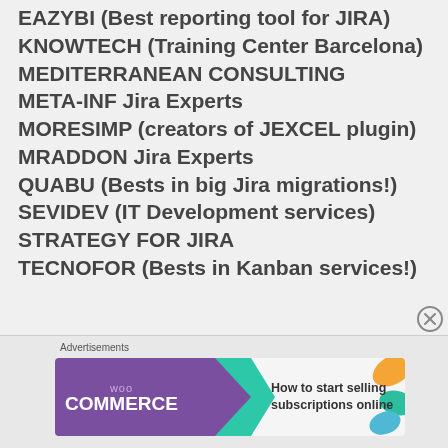EAZYBI (Best reporting tool for JIRA)
KNOWTECH (Training Center Barcelona)
MEDITERRANEAN CONSULTING
META-INF Jira Experts
MORESIMP (creators of JEXCEL plugin)
MRADDON Jira Experts
QUABU (Bests in big Jira migrations!)
SEVIDEV (IT Development services)
STRATEGY FOR JIRA
TECNOFOR (Bests in Kanban services!)
[Figure (infographic): WooCommerce advertisement banner: 'How to start selling subscriptions online' with purple and teal arrow design and decorative leaf shapes.]